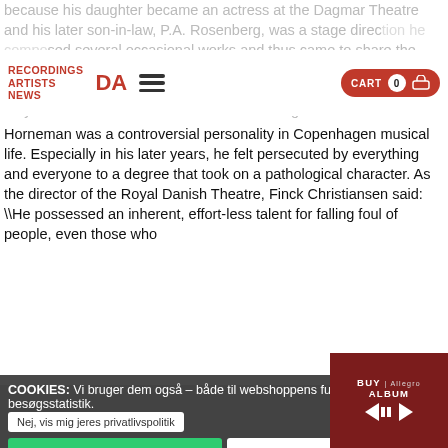because his daughter became an actress at the Dagmar Theatre and his later son-in-law, P.A. Rosenberg, was a stage director. The position he composed several occasional works and thus came to share the fate of J.P.E. Hartmann: that many of their compositions - regardless of the qualities of the music - can no longer be performed, because they are associated with texts that are no longer relevant.
RECORDINGS ARTISTS NEWS DA [hamburger menu] CART 0
Horneman was a controversial personality in Copenhagen musical life. Especially in his later years, he felt persecuted by everything and everyone to a degree that took on a pathological character. As the director of the Royal Danish Theatre, Finck Christiansen said: \He possessed an inherent, effort-less talent for falling foul of people, even those who
COOKIES: Vi bruger dem også – både til webshoppens funktioner og til besøgsstatistik.
Nej, vis mig jeres privatlivspolitik
OK
DECLINE
BUY ALBUM | Allegro